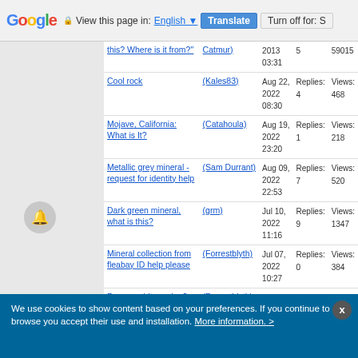Google | View this page in: English | Translate | Turn off for: S
| Topic | Author | Date | Replies/Views |
| --- | --- | --- | --- |
| this? Where is it from? | (Catmur) | 2013 03:31 | 5 | 59015 |
| Cool rock | (Kales83) | Aug 22, 2022 08:30 | Replies: 4 | Views: 468 |
| Mojave, California: What is It? | (Catahoula) | Aug 19, 2022 23:20 | Replies: 1 | Views: 218 |
| Metallic grey mineral - request for identity help | (Sam Durrant) | Aug 09, 2022 22:53 | Replies: 7 | Views: 520 |
| Dark green mineral, what is this? | (grm) | Jul 10, 2022 11:16 | Replies: 9 | Views: 1347 |
| Mineral collection from fleabay ID help please | (Forrestblyth) | Jul 07, 2022 10:27 | Replies: 0 | Views: 384 |
| Pyromorphite and ...? | (Forrestblyth) | Jul 01, 2022 16:16 | Replies: 4 | Views: 829 |
| Caldbeck cumbria mineral | (Forrestblyth) | Jul 01, 2022 11:34 | Replies: 2 | Views: 598 |
| Barytocalcite | (Forrestblyth) | Jun 30, 2022 16:18 | Replies: 1 | Views: 410 |
152
We use cookies to show content based on your preferences. If you continue to browse you accept their use and installation. More information. >